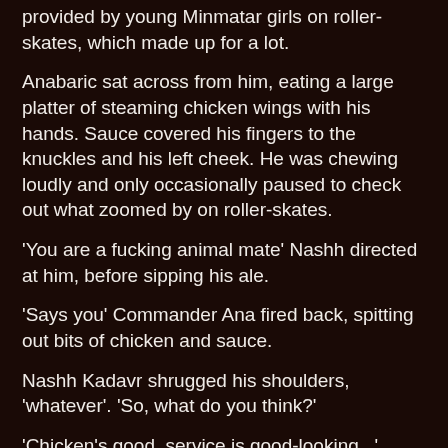provided by young Minmatar girls on roller-skates, which made up for a lot.
Anabaric sat across from him, eating a large platter of steaming chicken wings with his hands. Sauce covered his fingers to the knuckles and his left cheek. He was chewing loudly and only occasionally paused to check out what zoomed by on roller-skates.
'You are a fucking animal mate' Nashh directed at him, before sipping his ale.
'Says you' Commander Ana fired back, spitting out bits of chicken and sauce.
Nashh Kadavr shrugged his shoulders, 'whatever'. 'So, what do you think?'
'Chicken's good, service is good-looking...'
'Not this place you derp, Goinard I mean'.
'I'll let you know, we still need some more numbers, I mean our own if you know what I mean...'